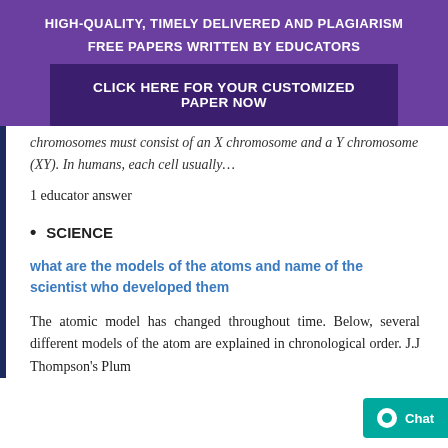HIGH-QUALITY, TIMELY DELIVERED AND PLAGIARISM FREE PAPERS WRITTEN BY EDUCATORS
CLICK HERE FOR YOUR CUSTOMIZED PAPER NOW
chromosomes must consist of an X chromosome and a Y chromosome (XY). In humans, each cell usually…
1 educator answer
SCIENCE
what are the models of the atoms and name of the scientist who developed them
The atomic model has changed throughout time. Below, several different models of the atom are explained in chronological order. J.J Thompson's Plum